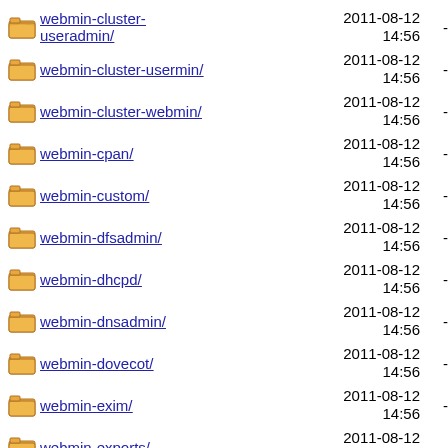webmin-cluster-useradmin/ 2011-08-12 14:56 -
webmin-cluster-usermin/ 2011-08-12 14:56 -
webmin-cluster-webmin/ 2011-08-12 14:56 -
webmin-cpan/ 2011-08-12 14:56 -
webmin-custom/ 2011-08-12 14:56 -
webmin-dfsadmin/ 2011-08-12 14:56 -
webmin-dhcpd/ 2011-08-12 14:56 -
webmin-dnsadmin/ 2011-08-12 14:56 -
webmin-dovecot/ 2011-08-12 14:56 -
webmin-exim/ 2011-08-12 14:56 -
webmin-exports/ 2011-08-12 14:56 -